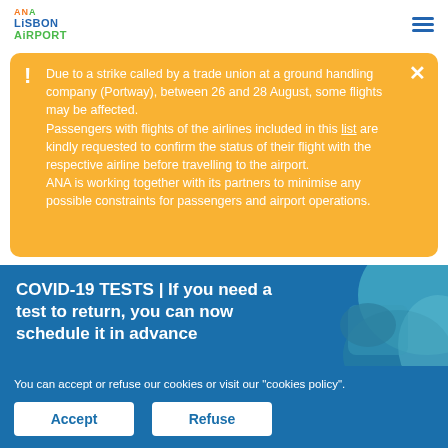ANA LISBON AIRPORT
Due to a strike called by a trade union at a ground handling company (Portway), between 26 and 28 August, some flights may be affected. Passengers with flights of the airlines included in this list are kindly requested to confirm the status of their flight with the respective airline before travelling to the airport. ANA is working together with its partners to minimise any possible constraints for passengers and airport operations.
COVID-19 TESTS | If you need a test to return, you can now schedule it in advance
You can accept or refuse our cookies or visit our "cookies policy".